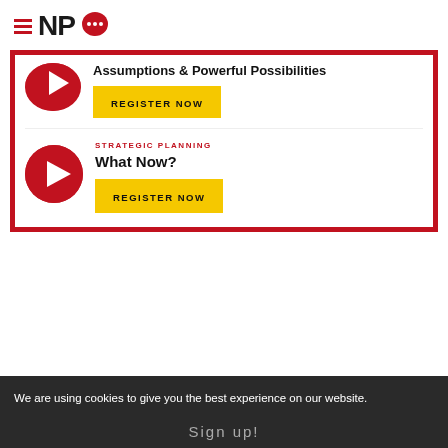[Figure (logo): NPQ (Nonprofit Quarterly) logo with hamburger menu icon, red speech bubble with dots, and black NPQ text]
Assumptions & Powerful Possibilities
REGISTER NOW
STRATEGIC PLANNING
What Now?
REGISTER NOW
We are using cookies to give you the best experience on our website.
Sign up!